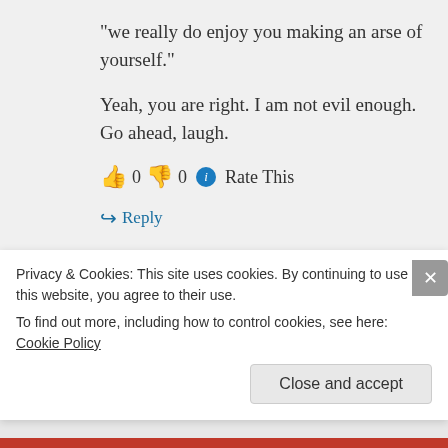“we really do enjoy you making an arse of yourself.”
Yeah, you are right. I am not evil enough. Go ahead, laugh.
👍 0 👎 0 ℹ Rate This
↪ Reply
Chinese Netizen on Friday, June 18, 2010 at 04:16
Privacy & Cookies: This site uses cookies. By continuing to use this website, you agree to their use.
To find out more, including how to control cookies, see here: Cookie Policy
Close and accept